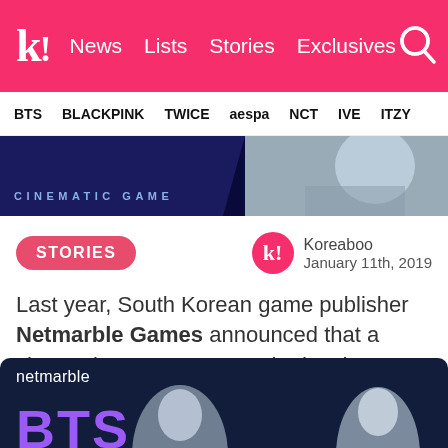k! News Lists Stories Exclusives
BTS BLACKPINK TWICE aespa NCT IVE ITZY
[Figure (screenshot): Two banner images: left is dark blue with 'CINEMATIC GAME' text, right shows a person at a desk]
STORIES
Koreaboo January 11th, 2019
Last year, South Korean game publisher Netmarble Games announced that a cinematic BTS game was in development, but it's been a long time since fans were given an update.
[Figure (screenshot): Netmarble BTS promotional image showing two people with 'BTS' text in purple]